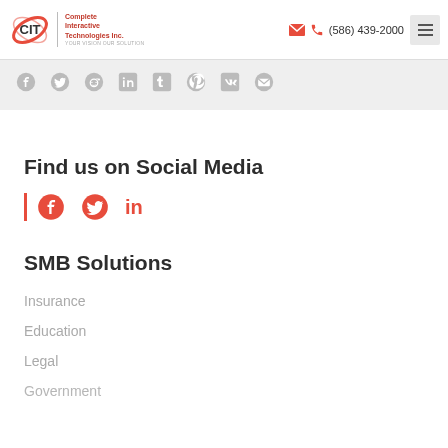Complete Interactive Technologies Inc. | (586) 439-2000
[Figure (infographic): Social share bar with icons: Facebook, Twitter, Reddit, LinkedIn, Tumblr, Pinterest, VK, Email]
Find us on Social Media
[Figure (infographic): Social media icons: Facebook, Twitter, LinkedIn in red]
SMB Solutions
Insurance
Education
Legal
Government